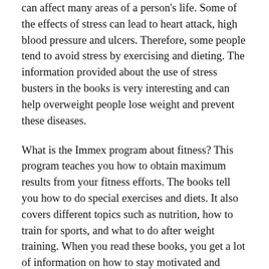can affect many areas of a person's life. Some of the effects of stress can lead to heart attack, high blood pressure and ulcers. Therefore, some people tend to avoid stress by exercising and dieting. The information provided about the use of stress busters in the books is very interesting and can help overweight people lose weight and prevent these diseases.
What is the Immex program about fitness? This program teaches you how to obtain maximum results from your fitness efforts. The books tell you how to do special exercises and diets. It also covers different topics such as nutrition, how to train for sports, and what to do after weight training. When you read these books, you get a lot of information on how to stay motivated and excited about your fitness goals. There is plenty of information in these books that you cannot learn elsewhere.
What is the Immex program about fitness and nutrition? These are important topics for any diet plan. If you do not